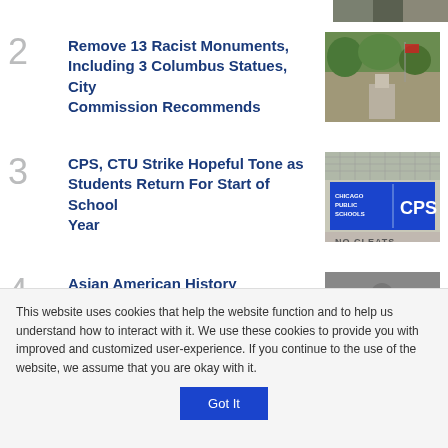[Figure (photo): Partial top strip of a crowd/group photo]
2 Remove 13 Racist Monuments, Including 3 Columbus Statues, City Commission Recommends
[Figure (photo): Outdoor photo of a monument or statue with trees]
3 CPS, CTU Strike Hopeful Tone as Students Return For Start of School Year
[Figure (photo): Chicago Public Schools CPS sign]
4 Asian American History Requirement Starts in Illinois Public Schools
[Figure (photo): Black and white photo of people holding YES signs]
This website uses cookies that help the website function and to help us understand how to interact with it. We use these cookies to provide you with improved and customized user-experience. If you continue to the use of the website, we assume that you are okay with it.